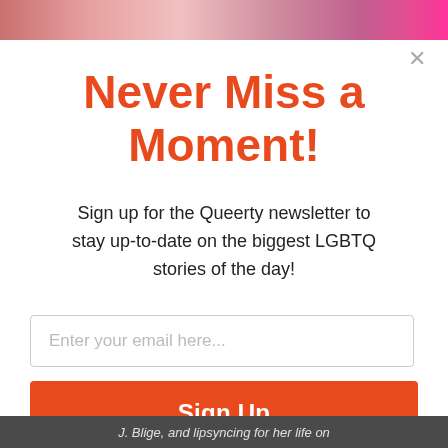[Figure (photo): Top portion of a webpage screenshot showing a colorful image banner at the top]
Never Miss a Moment!
Sign up for the Queerty newsletter to stay up-to-date on the biggest LGBTQ stories of the day!
[Figure (screenshot): Email input field with placeholder text 'Enter your email here...' and a Sign Up button below it]
[Figure (photo): Bottom portion of webpage showing partial text: 'J. Blige, and lipsyncing for her life on']